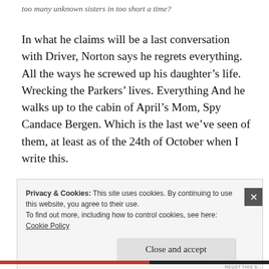too many unknown sisters in too short a time?
In what he claims will be a last conversation with Driver, Norton says he regrets everything. All the ways he screwed up his daughter’s life. Wrecking the Parkers’ lives. Everything And he walks up to the cabin of April’s Mom, Spy Candace Bergen. Which is the last we’ve seen of them, at least as of the 24th of October when I write this.
Privacy & Cookies: This site uses cookies. By continuing to use this website, you agree to their use.
To find out more, including how to control cookies, see here:
Cookie Policy
Close and accept